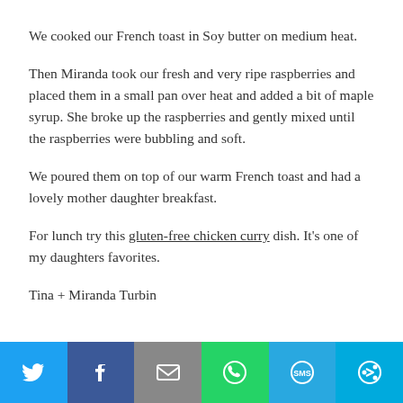We cooked our French toast in Soy butter on medium heat.
Then Miranda took our fresh and very ripe raspberries and placed them in a small pan over heat and added a bit of maple syrup. She broke up the raspberries and gently mixed until the raspberries were bubbling and soft.
We poured them on top of our warm French toast and had a lovely mother daughter breakfast.
For lunch try this gluten-free chicken curry dish. It's one of my daughters favorites.
Tina + Miranda Turbin
[Figure (infographic): Social sharing bar with icons for Twitter, Facebook, Email, WhatsApp, SMS, and More options]